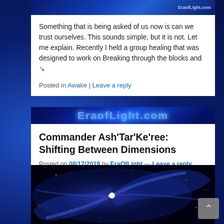[Figure (screenshot): Top banner image with EraofLight.com branding on dark blue background]
Something that is being asked of us now is can we trust ourselves. This sounds simple, but it is not. Let me explain. Recently I held a group healing that was designed to work on Breaking through the blocks and ↘
Posted in Awake | Leave a reply
[Figure (screenshot): EraofLight.com banner in bright blue glowing text on dark blue background]
Commander Ash'Tar'Ke'ree: Shifting Between Dimensions
Posted on 08/17/2019 by EraOfLight — Leave a reply
[Figure (photo): Spiral galaxy image on dark blue background with glowing purple and white center and swirling arms with stars]